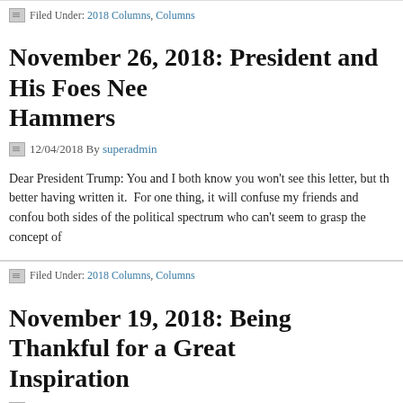Filed Under: 2018 Columns, Columns
November 26, 2018: President and His Foes Need Hammers
12/04/2018 By superadmin
Dear President Trump: You and I both know you won't see this letter, but th... better having written it.  For one thing, it will confuse my friends and confou... both sides of the political spectrum who can't seem to grasp the concept of
Filed Under: 2018 Columns, Columns
November 19, 2018: Being Thankful for a Great Inspiration
11/27/2018 By superadmin
Any mention of Thanksgiving – which I am about to mention – must first inc... ever has or ever will write a Thanksgiving column like Furman Bisher, the la... the Atlanta Journal-Constitution.  He owns that category like Ray Charles R... owns "Georgia [...]